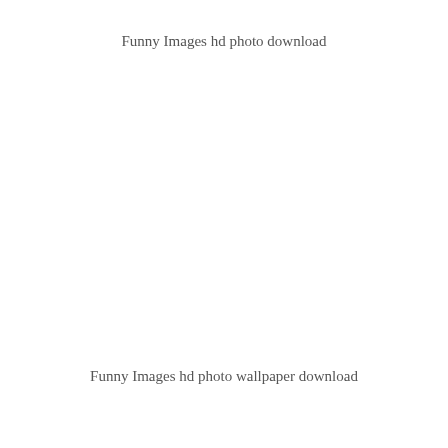Funny Images hd photo download
Funny Images hd photo wallpaper download